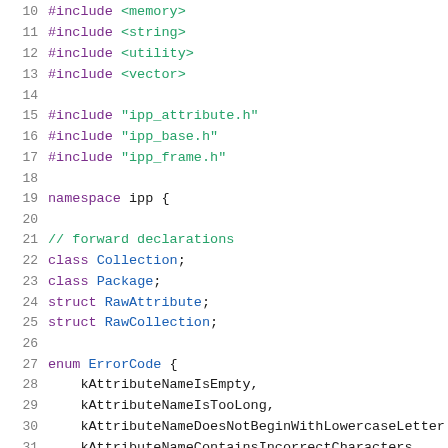10  #include <memory>
11  #include <string>
12  #include <utility>
13  #include <vector>
14
15  #include "ipp_attribute.h"
16  #include "ipp_base.h"
17  #include "ipp_frame.h"
18
19  namespace ipp {
20
21  // forward declarations
22  class Collection;
23  class Package;
24  struct RawAttribute;
25  struct RawCollection;
26
27  enum ErrorCode {
28    kAttributeNameIsEmpty,
29    kAttributeNameIsTooLong,
30    kAttributeNameDoesNotBeginWithLowercaseLetter
31    kAttributeNameContainsIncorrectCharacters